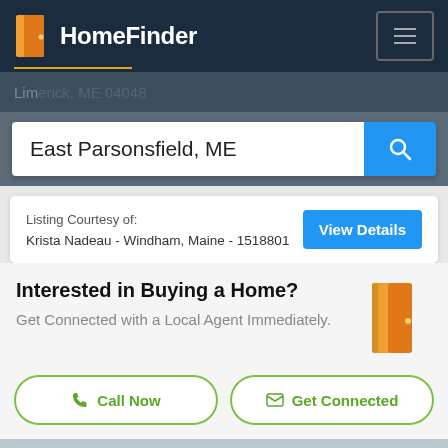HomeFinder
Limerick, ME 04048
East Parsonsfield, ME
Listing Courtesy of:
Krista Nadeau - Windham, Maine - 1518801
View Details
Interested in Buying a Home?
Get Connected with a Local Agent Immediately.
Call Now
Get Connected